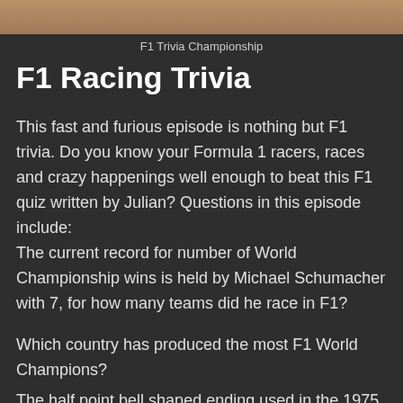[Figure (photo): Cropped photo of a person, likely related to F1 racing, shown at top of page as a banner image strip.]
F1 Trivia Championship
F1 Racing Trivia
This fast and furious episode is nothing but F1 trivia. Do you know your Formula 1 racers, races and crazy happenings well enough to beat this F1 quiz written by Julian?  Questions in this episode include:
The current record for number of World Championship wins is held by Michael Schumacher with 7, for how many teams did he race in F1?
Which country has produced the most F1 World Champions?
The half point bell shaped ending used in the 1975